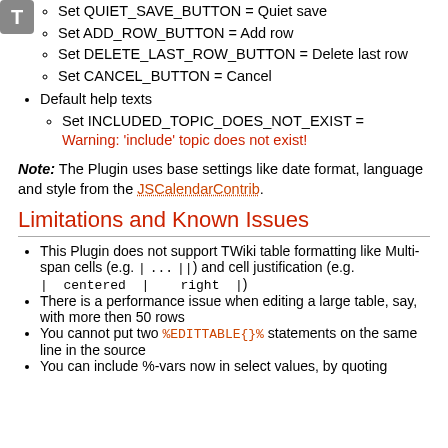Set QUIET_SAVE_BUTTON = Quiet save
Set ADD_ROW_BUTTON = Add row
Set DELETE_LAST_ROW_BUTTON = Delete last row
Set CANCEL_BUTTON = Cancel
Default help texts
Set INCLUDED_TOPIC_DOES_NOT_EXIST = Warning: 'include' topic does not exist!
Note: The Plugin uses base settings like date format, language and style from the JSCalendarContrib.
Limitations and Known Issues
This Plugin does not support TWiki table formatting like Multi-span cells (e.g. | ... ||) and cell justification (e.g. | centered | right |)
There is a performance issue when editing a large table, say, with more then 50 rows
You cannot put two %EDITTABLE{}% statements on the same line in the source
You can include %-vars now in select values, by quoting